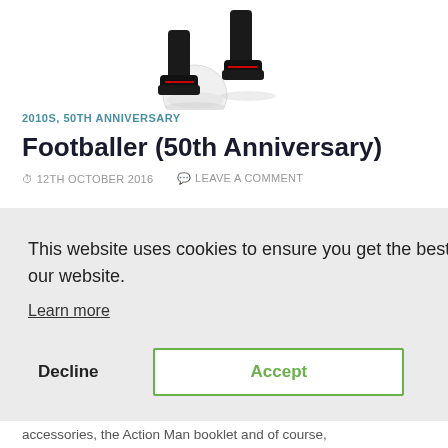[Figure (photo): Partial view of a footballer figurine (Action Man 50th Anniversary) showing legs with football boots and a white ball, photographed against white background]
2010S, 50TH ANNIVERSARY
Footballer (50th Anniversary)
⏱ 12TH OCTOBER 2016  💬 LEAVE A COMMENT
[Figure (screenshot): Cookie consent modal overlay with text: 'This website uses cookies to ensure you get the best experience on our website.' with Learn more link and Decline / Accept buttons. A close (X) button is in the top right.]
accessories, the Action Man booklet and of course,